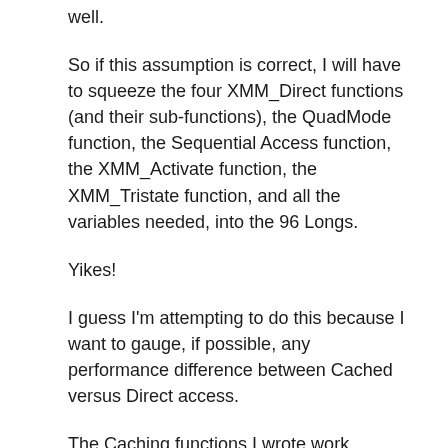well.
So if this assumption is correct, I will have to squeeze the four XMM_Direct functions (and their sub-functions), the QuadMode function, the Sequential Access function, the XMM_Activate function, the XMM_Tristate function, and all the variables needed, into the 96 Longs.
Yikes!
I guess I'm attempting to do this because I want to gauge, if possible, any performance difference between Cached versus Direct access.
The Caching functions I wrote work perfectly. But even they can get squeezed down given what I've done with the Direct access functions. So that's next on the agenda once I'm through with the Direct issue.
Anyway, even if this Direct access attempt fails, it's been a great educational experience as I'm getting quite familiar with Prop Assembly (whether I wanted to or not) 😉